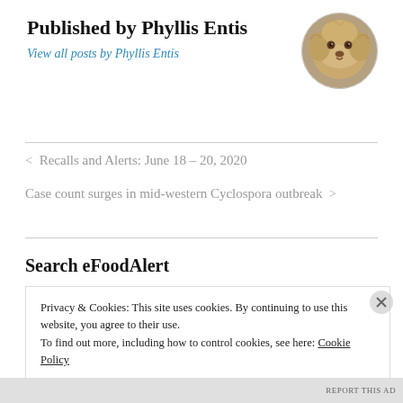Published by Phyllis Entis
View all posts by Phyllis Entis
[Figure (photo): Circular avatar photo of a fluffy tan/beige dog (likely a Labradoodle or similar breed), close-up face shot]
< Recalls and Alerts: June 18 – 20, 2020
Case count surges in mid-western Cyclospora outbreak >
Search eFoodAlert
Privacy & Cookies: This site uses cookies. By continuing to use this website, you agree to their use.
To find out more, including how to control cookies, see here: Cookie Policy
Close and accept